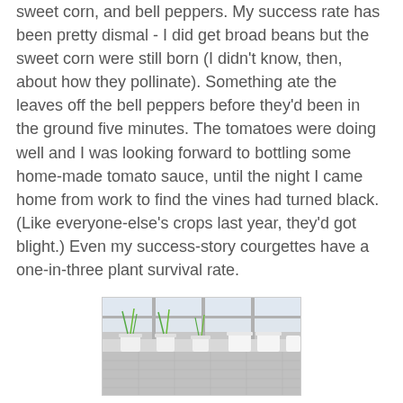sweet corn, and bell peppers. My success rate has been pretty dismal - I did get broad beans but the sweet corn were still born (I didn't know, then, about how they pollinate). Something ate the leaves off the bell peppers before they'd been in the ground five minutes. The tomatoes were doing well and I was looking forward to bottling some home-made tomato sauce, until the night I came home from work to find the vines had turned black. (Like everyone-else's crops last year, they'd got blight.) Even my success-story courgettes have a one-in-three plant survival rate.
This year, I'm growing potatoes, approximately 50 onions (bought as "sets"), 12 garlic, six broad bean plants (only two planted out so far), one courgette (I planted out three), 8 or 9 sweet corn (not planted out yet - I think the 9th won't survive), and 3 butternut squash. It's raining, so no photos of the garden, but here is a shot of the "nursery" beside the big kitchen window:
[Figure (photo): A photo of a windowsill nursery beside a big kitchen window, showing plant seedlings and green shoots against a light background.]